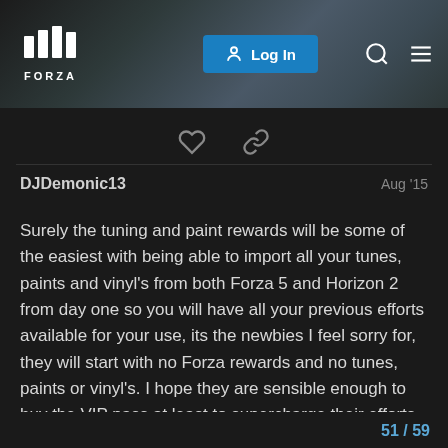[Figure (screenshot): Forza forum website header with logo, Log In button, search icon and menu icon on a dark background with car imagery]
DJDemonic13   Aug '15
Surely the tuning and paint rewards will be some of the easiest with being able to import all your tunes, paints and vinyl's from both Forza 5 and Horizon 2 from day one so you will have all your previous efforts available for your use, its the newbies I feel sorry for, they will start with no Forza rewards and no tunes, paints or vinyl's. I hope they are sensible enough to buy the VIP pass at least to supercharge their efforts. PS hope the night time rainstorms are as good as the ones on Storm Island now they are real testing to race in but a great equaliser
51 / 59